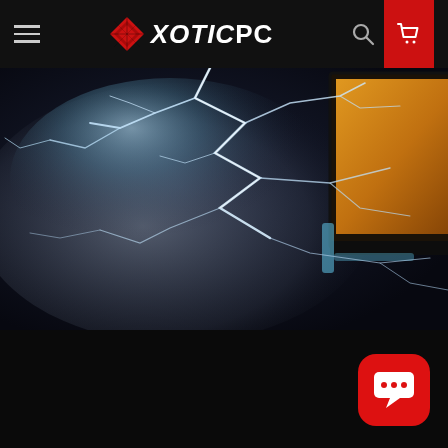XOTICPC navigation bar with hamburger menu, logo, search icon, and cart icon
[Figure (photo): Dark atmospheric hero image showing electric lightning/plasma effects in blue-white against a dark background, with a monitor or screen partially visible in the upper right corner with an orange/golden tint interior]
[Figure (illustration): Red rounded-square chat bubble button with white speech bubble icon, positioned in the lower right corner]